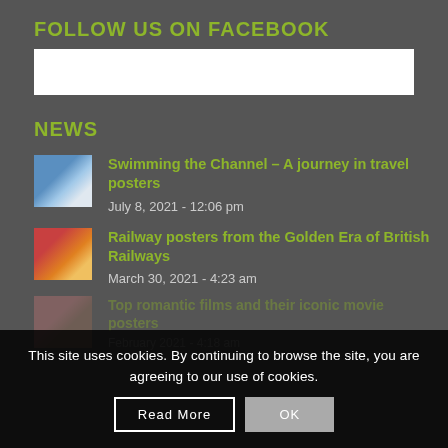FOLLOW US ON FACEBOOK
[Figure (other): White Facebook widget embed box]
NEWS
Swimming the Channel – A journey in travel posters
July 8, 2021 - 12:06 pm
Railway posters from the Golden Era of British Railways
March 30, 2021 - 4:23 am
Top romantic films and their iconic movie posters
February 2021 - 4:18 am
This site uses cookies. By continuing to browse the site, you are agreeing to our use of cookies.